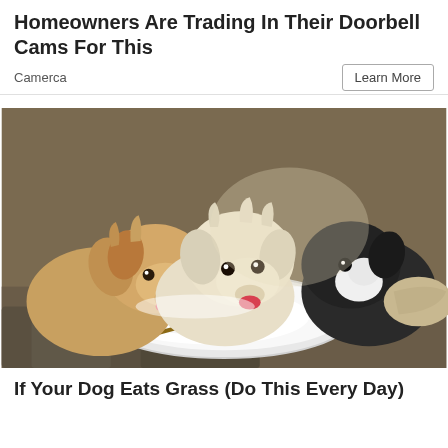Homeowners Are Trading In Their Doorbell Cams For This
Camerca
Learn More
[Figure (photo): Three puppies eating from a white plate — two fluffy light/golden puppies and one black-and-white puppy — licking what appears to be yogurt or cream from a round white plate on a stone/dirt surface.]
If Your Dog Eats Grass (Do This Every Day)